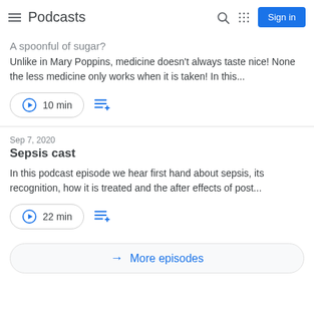Podcasts
A spoonful of sugar?
Unlike in Mary Poppins, medicine doesn't always taste nice! None the less medicine only works when it is taken! In this...
10 min
Sep 7, 2020
Sepsis cast
In this podcast episode we hear first hand about sepsis, its recognition, how it is treated and the after effects of post...
22 min
More episodes